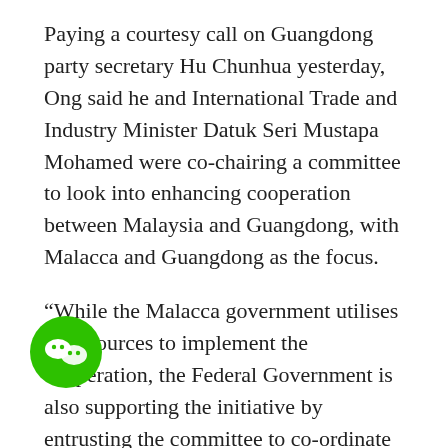Paying a courtesy call on Guangdong party secretary Hu Chunhua yesterday, Ong said he and International Trade and Industry Minister Datuk Seri Mustapa Mohamed were co-chairing a committee to look into enhancing cooperation between Malaysia and Guangdong, with Malacca and Guangdong as the focus.
“While the Malacca government utilises its resources to implement the cooperation, the Federal Government is also supporting the initiative by entrusting the committee to co-ordinate the efforts.
“We are killing two birds with one stone here – not only the Malacca-Guangdong cooperation will be strengthened, the Malaysia-Guangdong ties will also receive a boost,” he said.
Ong is leading a delegation to Guangdong for the Malaysia-China (Guangdong) Economic and Trade Cooperation
[Figure (logo): WeChat green circular icon with two white chat bubble faces]